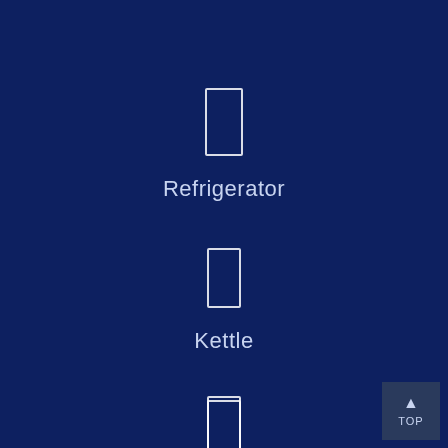[Figure (illustration): White outline rectangle icon representing a refrigerator]
Refrigerator
[Figure (illustration): White outline rectangle icon representing a kettle]
Kettle
[Figure (illustration): White outline rectangle icon representing a microwave]
Microwave
[Figure (other): TOP navigation button with upward arrow in bottom-right corner]